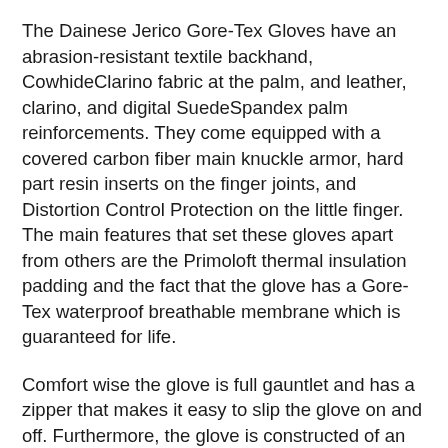The Dainese Jerico Gore-Tex Gloves have an abrasion-resistant textile backhand, CowhideClarino fabric at the palm, and leather, clarino, and digital SuedeSpandex palm reinforcements. They come equipped with a covered carbon fiber main knuckle armor, hard part resin inserts on the finger joints, and Distortion Control Protection on the little finger. The main features that set these gloves apart from others are the Primoloft thermal insulation padding and the fact that the glove has a Gore-Tex waterproof breathable membrane which is guaranteed for life.
Comfort wise the glove is full gauntlet and has a zipper that makes it easy to slip the glove on and off. Furthermore, the glove is constructed of an elasticated fabric material for the best fit and movement of the hand. There is a full waterproof gaiter under the gauntlet to use when riding through the rain or sleet. There is a single Velcro adjustment strap and a nice big pull tab that makes it easy to put on and take off the gloves. Overall, the Dainese Jerico Gore-Tex Gloves present a premium quality product built for extreme protection along with comfort and warmth that puts them at the top of Dainese's winter gloves lineup.